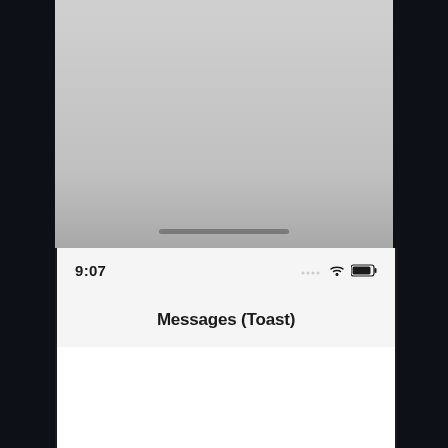[Figure (screenshot): Mobile phone screenshot showing an iOS-style interface. Top portion shows the silver/gray physical phone body with a swipe handle bar. Below is the screen showing status bar with time '9:07', signal/wifi/battery icons, a navigation bar titled 'Messages (Toast)', and an empty white content area.]